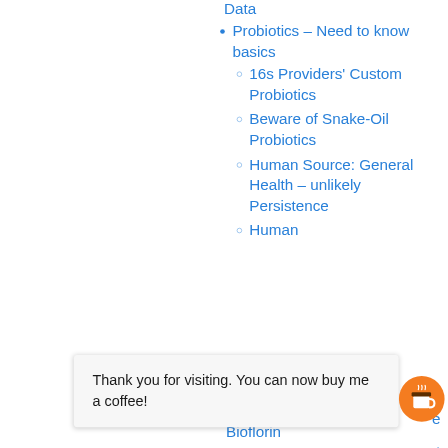Data
Probiotics – Need to know basics
16s Providers' Custom Probiotics
Beware of Snake-Oil Probiotics
Human Source: General Health – unlikely Persistence
Human
Thank you for visiting. You can now buy me a coffee!
Bioflorin